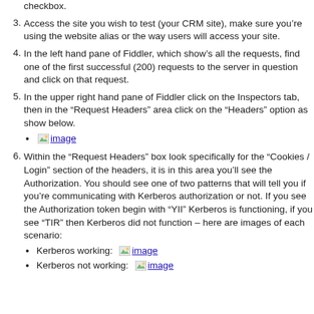checkbox.
3. Access the site you wish to test (your CRM site), make sure you’re using the website alias or the way users will access your site.
4. In the left hand pane of Fiddler, which show’s all the requests, find one of the first successful (200) requests to the server in question and click on that request.
5. In the upper right hand pane of Fiddler click on the Inspectors tab, then in the “Request Headers” area click on the “Headers” option as show below.
[image]
6. Within the “Request Headers” box look specifically for the “Cookies / Login” section of the headers, it is in this area you’ll see the Authorization. You should see one of two patterns that will tell you if you’re communicating with Kerberos authorization or not. If you see the Authorization token begin with “YII” Kerberos is functioning, if you see “TIR” then Kerberos did not function – here are images of each scenario:
Kerberos working: [image]
Kerberos not working: [image]